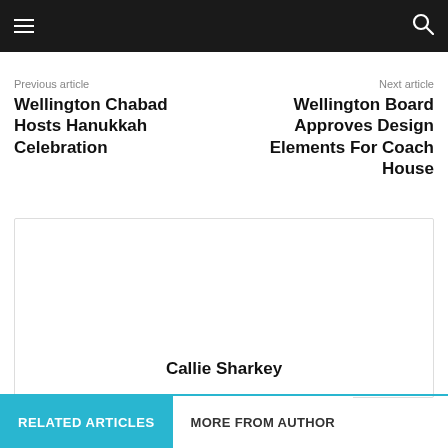Navigation bar with menu and search icons
Previous article
Wellington Chabad Hosts Hanukkah Celebration
Next article
Wellington Board Approves Design Elements For Coach House
Callie Sharkey
RELATED ARTICLES  MORE FROM AUTHOR